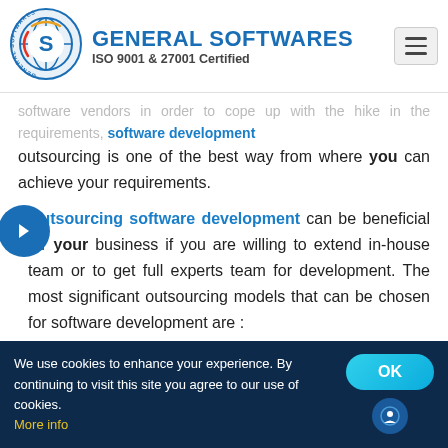[Figure (logo): General Softwares logo — circular badge with 'S' letter and globe design, blue and yellow/gold colors]
GENERAL SOFTWARES
ISO 9001 & 27001 Certified
software vendors in order to cope up with the hike in the requirements, software development outsourcing is one of the best way from where you can achieve your requirements.
Outsourcing software development can be beneficial for your business if you are willing to extend in-house team or to get full experts team for development. The most significant outsourcing models that can be chosen for software development are :
We use cookies to enhance your experience. By continuing to visit this site you agree to our use of cookies. More info